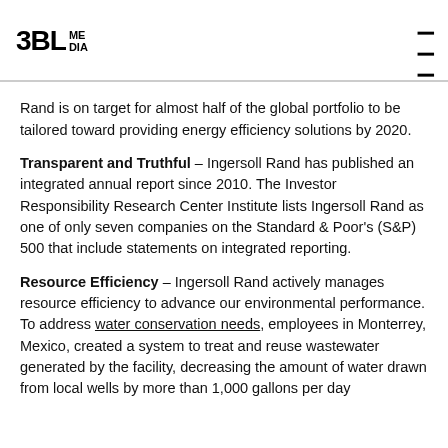3BL MEDIA
Rand is on target for almost half of the global portfolio to be tailored toward providing energy efficiency solutions by 2020.
Transparent and Truthful – Ingersoll Rand has published an integrated annual report since 2010. The Investor Responsibility Research Center Institute lists Ingersoll Rand as one of only seven companies on the Standard & Poor's (S&P) 500 that include statements on integrated reporting.
Resource Efficiency – Ingersoll Rand actively manages resource efficiency to advance our environmental performance. To address water conservation needs, employees in Monterrey, Mexico, created a system to treat and reuse wastewater generated by the facility, decreasing the amount of water drawn from local wells by more than 1,000 gallons per day